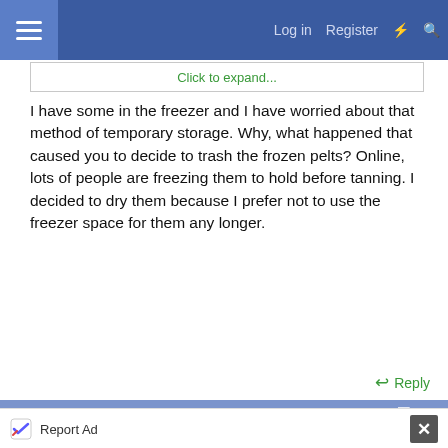Log in  Register
Click to expand...
I have some in the freezer and I have worried about that method of temporary storage. Why, what happened that caused you to decide to trash the frozen pelts? Online, lots of people are freezing them to hold before tanning. I decided to dry them because I prefer not to use the freezer space for them any longer.
Reply
Apr 27, 2022   #6
KelleyBee
Well-known member  Rabbit Talk Supporter
Report Ad